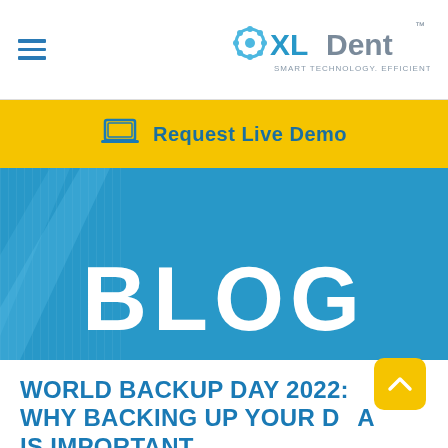XLDent – SMART TECHNOLOGY. EFFICIENT SOLUTIONS.
Request Live Demo
[Figure (screenshot): Blue hero banner with the word BLOG in large white bold text, with decorative light streaks on a bright blue background]
WORLD BACKUP DAY 2022: WHY BACKING UP YOUR DATA IS IMPORTANT